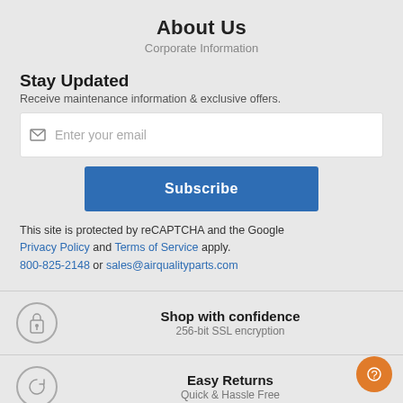About Us
Corporate Information
Stay Updated
Receive maintenance information & exclusive offers.
Enter your email
Subscribe
This site is protected by reCAPTCHA and the Google Privacy Policy and Terms of Service apply.
800-825-2148 or sales@airqualityparts.com
Shop with confidence
256-bit SSL encryption
Easy Returns
Quick & Hassle Free
Guaranteed Fit